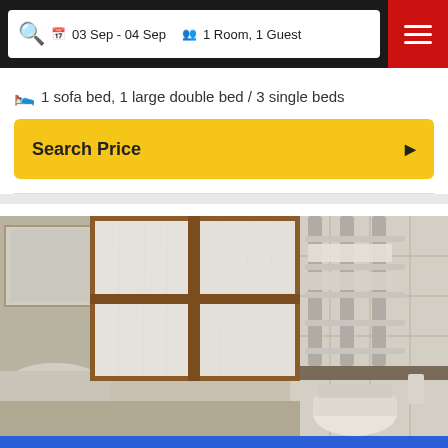03 Sep - 04 Sep  1 Room, 1 Guest
1 sofa bed, 1 large double bed / 3 single beds
Search Price
[Figure (photo): Bathroom interior with wooden-framed window with white curtains, sink, and towel rail with towels on tiled walls]
VIEW GALLERY  PHOTOS
Search Rooms